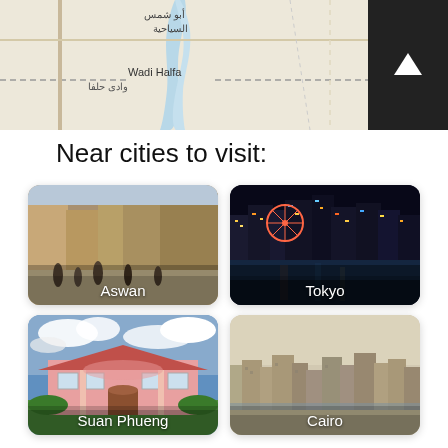[Figure (map): Map showing Wadi Halfa / وادى حلفا area with Arabic text أبو شمس السياحية, roads and water]
Near cities to visit:
[Figure (photo): Busy street market scene in Aswan, Egypt with people walking]
[Figure (photo): Tokyo city at night with lights reflecting on water and a Ferris wheel]
[Figure (photo): Suan Phueng pink colonial-style building with garden and blue sky]
[Figure (photo): Cairo cityscape aerial view with buildings and hazy sky]